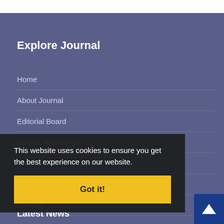Explore Journal
Home
About Journal
Editorial Board
Submit Manuscript
XML for Scientific Databases
Contact Us
Sitemap
This website uses cookies to ensure you get the best experience on our website.
Got it!
Latest News